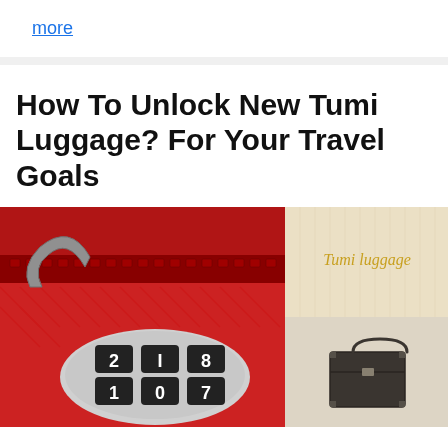more
How To Unlock New Tumi Luggage? For Your Travel Goals
[Figure (photo): Close-up of a red zipper luggage with a combination lock showing digits 2,1,8 on top row and 1,0,7 on bottom row, silver/metallic lock body]
[Figure (photo): Top: Text 'Tumi luggage' in gold/yellow italic script on a beige background. Bottom: A small vintage-style hard-sided briefcase/suitcase in dark color mounted on a light wall.]